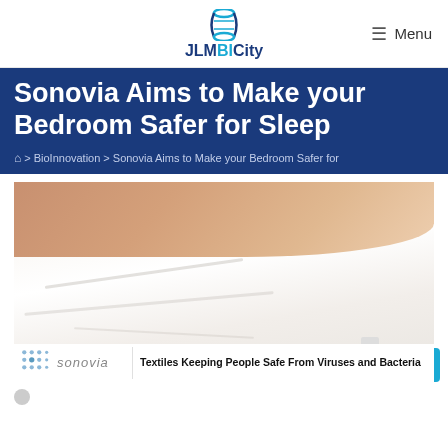JLMBICity — Menu
Sonovia Aims to Make your Bedroom Safer for Sleep
Home > BioInnovation > Sonovia Aims to Make your Bedroom Safer for
[Figure (photo): Person lying in white bed sheets with arm visible; white bedding with a small label tag visible. Overlay caption bar shows Sonovia logo and text 'Textiles Keeping People Safe From Viruses and Bacteria'.]
Textiles Keeping People Safe From Viruses and Bacteria